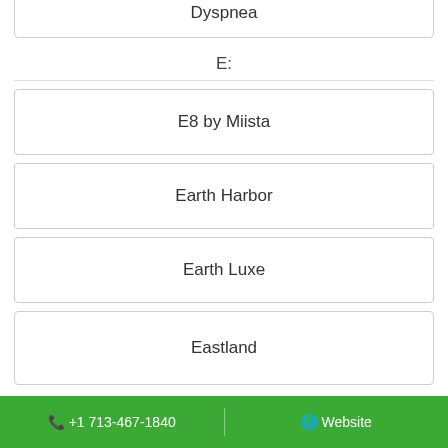Dyspnea
E:
E8 by Miista
Earth Harbor
Earth Luxe
Eastland
📞 +1 713-467-1840   🌐 Website